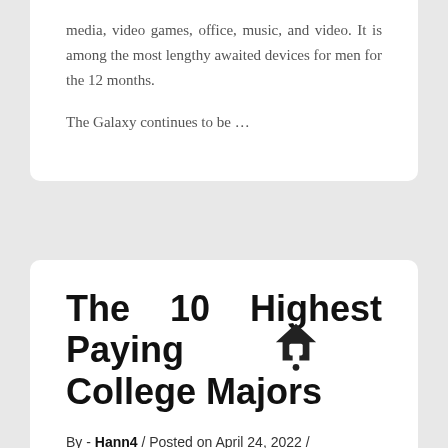media, video games, office, music, and video. It is among the most lengthy awaited devices for men for the 12 months.
The Galaxy continues to be …
The 10 Highest Paying College Majors
By - Hann4 / Posted on April 24, 2022 /
Posted in Computer Engineering